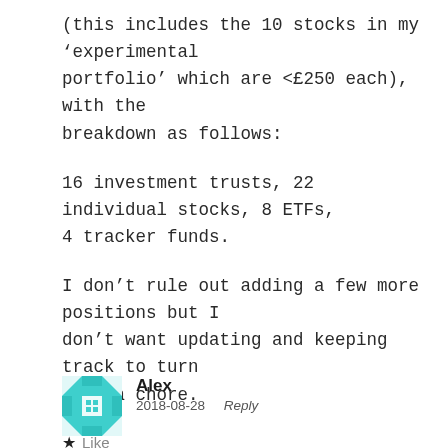(this includes the 10 stocks in my 'experimental portfolio' which are <£250 each), with the breakdown as follows:
16 investment trusts, 22 individual stocks, 8 ETFs, 4 tracker funds.
I don't rule out adding a few more positions but I don't want updating and keeping track to turn into a chore.
★ Like
Alex
2018-08-28   Reply